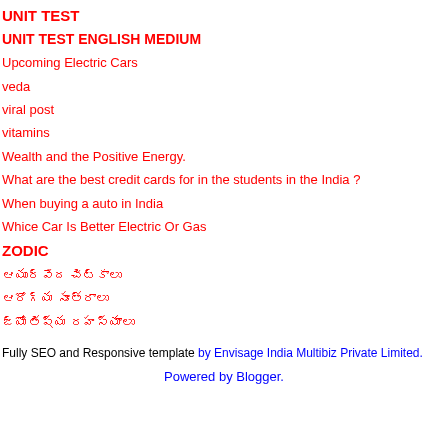UNIT TEST
UNIT TEST ENGLISH MEDIUM
Upcoming Electric Cars
veda
viral post
vitamins
Wealth and the Positive Energy.
What are the best credit cards for in the students in the India ?
When buying a auto in India
Whice Car Is Better Electric Or Gas
ZODIC
ఆయుర్వేద చిట్కాలు
ఆరోగ్య సూత్రాలు
జ్యోతిష్య రహస్యాలు
Fully SEO and Responsive template by Envisage India Multibiz Private Limited.
Powered by Blogger.